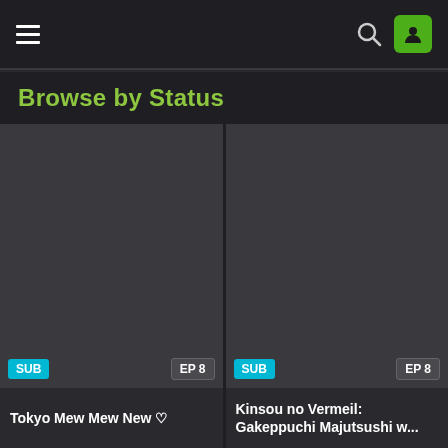Navigation bar with hamburger menu, search icon, and user profile icon
Browse by Status
[Figure (screenshot): Anime thumbnail card showing Tokyo Mew Mew New with SUB and EP 8 badges]
Tokyo Mew Mew New ♡
[Figure (screenshot): Anime thumbnail card showing Kinsou no Vermeil with SUB and EP 8 badges]
Kinsou no Vermeil: Gakeppuchi Majutsushi w...